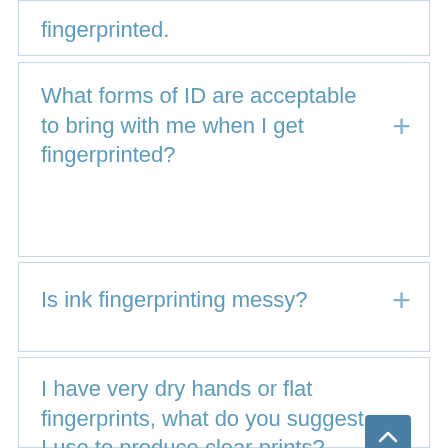fingerprinted.
What forms of ID are acceptable to bring with me when I get fingerprinted?
Is ink fingerprinting messy?
I have very dry hands or flat fingerprints, what do you suggest I use to produce clear prints?